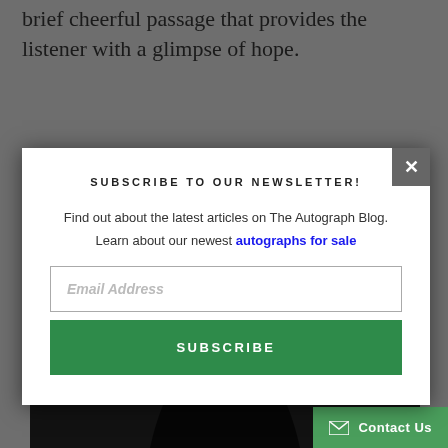brief cheerful passage that provides the listener with a glimpse of hope.
[Figure (screenshot): Newsletter subscription modal popup with email input and subscribe button over a dark photo background. Modal contains title 'SUBSCRIBE TO OUR NEWSLETTER!', descriptive text, email input field, and green subscribe button. A close (X) button is in the top right corner. A 'Contact Us' button appears in the bottom right corner.]
Find out about the latest articles on The Autograph Blog.
Learn about our newest autographs for sale
Email Address
SUBSCRIBE
Contact Us